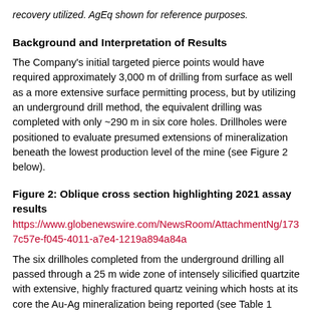recovery utilized. AgEq shown for reference purposes.
Background and Interpretation of Results
The Company's initial targeted pierce points would have required approximately 3,000 m of drilling from surface as well as a more extensive surface permitting process, but by utilizing an underground drill method, the equivalent drilling was completed with only ~290 m in six core holes. Drillholes were positioned to evaluate presumed extensions of mineralization beneath the lowest production level of the mine (see Figure 2 below).
Figure 2: Oblique cross section highlighting 2021 assay results
https://www.globenewswire.com/NewsRoom/AttachmentNg/1737c57e-f045-4011-a7e4-1219a894a84a
The six drillholes completed from the underground drilling all passed through a 25 m wide zone of intensely silicified quartzite with extensive, highly fractured quartz veining which hosts at its core the Au-Ag mineralization being reported (see Table 1 above). This zone of pervasive hydrothermal alteration and lower grade halo precious metal mineralization (e.g. SS21-005 cut 1.36 g/t Au over 15.5 m and SS21-007 cut 1.38 g/t Au over 9.41 m) is also